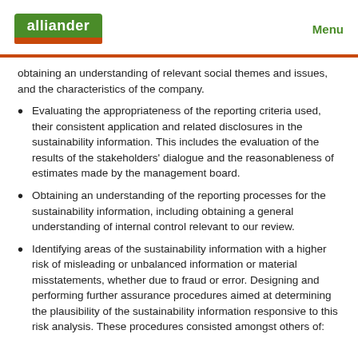alliander   Menu
obtaining an understanding of relevant social themes and issues, and the characteristics of the company.
Evaluating the appropriateness of the reporting criteria used, their consistent application and related disclosures in the sustainability information. This includes the evaluation of the results of the stakeholders' dialogue and the reasonableness of estimates made by the management board.
Obtaining an understanding of the reporting processes for the sustainability information, including obtaining a general understanding of internal control relevant to our review.
Identifying areas of the sustainability information with a higher risk of misleading or unbalanced information or material misstatements, whether due to fraud or error. Designing and performing further assurance procedures aimed at determining the plausibility of the sustainability information responsive to this risk analysis. These procedures consisted amongst others of: